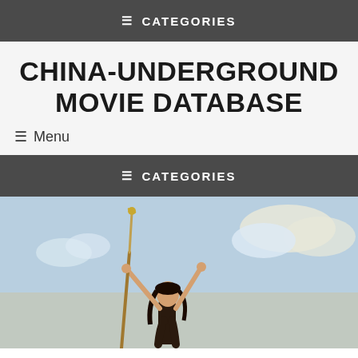≡ CATEGORIES
CHINA-UNDERGROUND MOVIE DATABASE
≡ Menu
≡ CATEGORIES
[Figure (illustration): A figure with raised arms holding a staff against a sky with clouds background — movie poster style illustration]